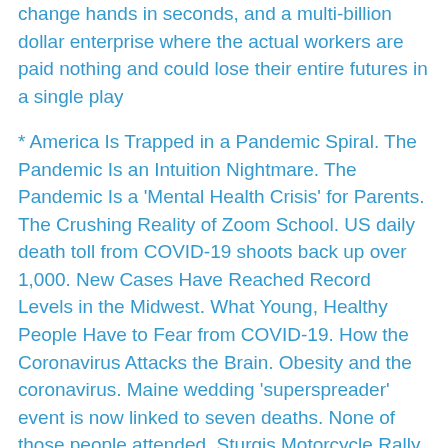change hands in seconds, and a multi-billion dollar enterprise where the actual workers are paid nothing and could lose their entire futures in a single play
* America Is Trapped in a Pandemic Spiral. The Pandemic Is an Intuition Nightmare. The Pandemic Is a 'Mental Health Crisis' for Parents. The Crushing Reality of Zoom School. US daily death toll from COVID-19 shoots back up over 1,000. New Cases Have Reached Record Levels in the Midwest. What Young, Healthy People Have to Fear from COVID-19. How the Coronavirus Attacks the Brain. Obesity and the coronavirus. Maine wedding 'superspreader' event is now linked to seven deaths. None of those people attended. Sturgis Motorcycle Rally Is Now Linked to More Than 250,000 Coronavirus Cases. Signs of depression have tripled in the U.S. since the COVID-19 pandemic got underway. A Dentist Sees More Cracked